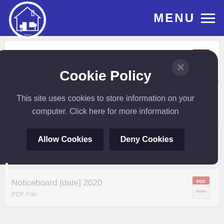MENU
Noticeboard 6th February 2020
PDF File
Noticeboard 30th January 2020
PDF File
Noticeboard 23rd January 2020
PDF File
Noticeboard [date] 2020
PDF File
Cookie Policy
This site uses cookies to store information on your computer. Click here for more information
Allow Cookies  Deny Cookies